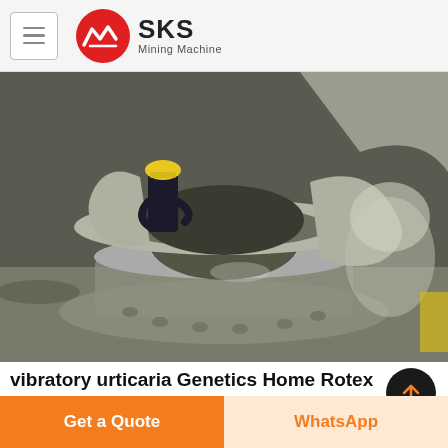SKS Mining Machine
[Figure (photo): Industrial workshop scene showing a large heavy metal casting or crusher frame component (annular ring shape) being inspected by a worker wearing a yellow hard hat. Multiple large cast metal parts visible in the background on a factory floor.]
vibratory urticaria Genetics Home Rotex Screening Machines Industrial Separation Equipment
Get a Quote
WhatsApp